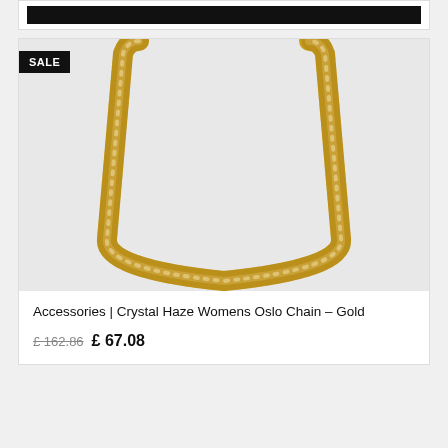[Figure (photo): Partial view of a product card showing a dark banner at top, clipped at page edge]
[Figure (photo): Gold chain necklace (Oslo Chain) displayed on light grey background with SALE badge in top-left corner]
Accessories | Crystal Haze Womens Oslo Chain – Gold
£ 162.86  £ 67.08